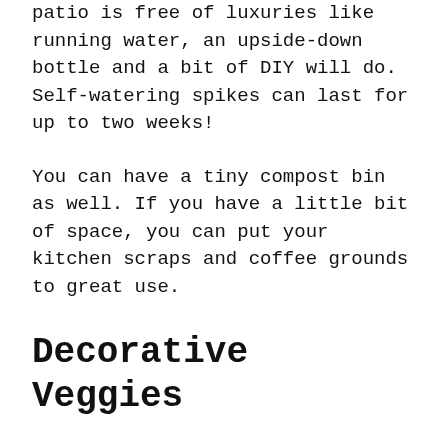patio is free of luxuries like running water, an upside-down bottle and a bit of DIY will do. Self-watering spikes can last for up to two weeks!
You can have a tiny compost bin as well. If you have a little bit of space, you can put your kitchen scraps and coffee grounds to great use.
Decorative Veggies
There are some veggies you can plant in your patio garden that will keep it pretty and tasty. Rapidly climbing plants like watermelon, cucumbers, squash, and pumpkins are always a great idea.
All you need is a trellis. These veggies will climb and produce beautiful large leaves, beautiful flowers and a lot of greenery even if they're growing out of a container. If you train them correctly, they can wrap